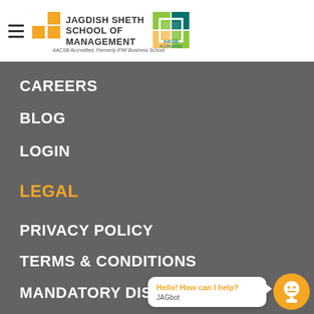[Figure (logo): Jagdish Sheth School of Management logo with AACSB Accredited badge and hamburger menu icon]
AACSB Accredited, Formerly IFIM Business School
CAREERS
BLOG
LOGIN
LEGAL
PRIVACY POLICY
TERMS & CONDITIONS
MANDATORY DISCLOSURE
Hello! How can I help?
JAGbot